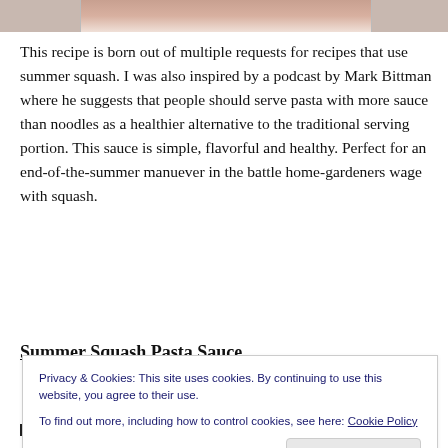[Figure (photo): Top portion of a food photo showing what appears to be pasta with sauce on a white plate, cropped at the top of the page]
This recipe is born out of multiple requests for recipes that use summer squash. I was also inspired by a podcast by Mark Bittman where he suggests that people should serve pasta with more sauce than noodles as a healthier alternative to the traditional serving portion. This sauce is simple, flavorful and healthy. Perfect for an end-of-the-summer manuever in the battle home-gardeners wage with squash.
Summer Squash Pasta Sauce
Privacy & Cookies: This site uses cookies. By continuing to use this website, you agree to their use.
To find out more, including how to control cookies, see here: Cookie Policy
Close and accept
2 cups of summer squash, finely diced